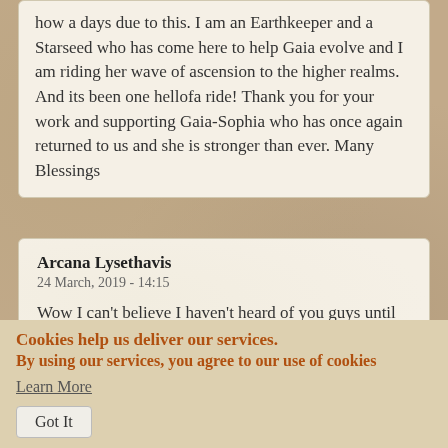how a days due to this. I am an Earthkeeper and a Starseed who has come here to help Gaia evolve and I am riding her wave of ascension to the higher realms. And its been one hellofa ride! Thank you for your work and supporting Gaia-Sophia who has once again returned to us and she is stronger than ever. Many Blessings
Arcana Lysethavis
24 March, 2019 - 14:15

Wow I can't believe I haven't heard of you guys until this year (2019). I just so happened to get lucky after listening to a video by The HU,
Cookies help us deliver our services.
By using our services, you agree to our use of cookies
Learn More
Got It